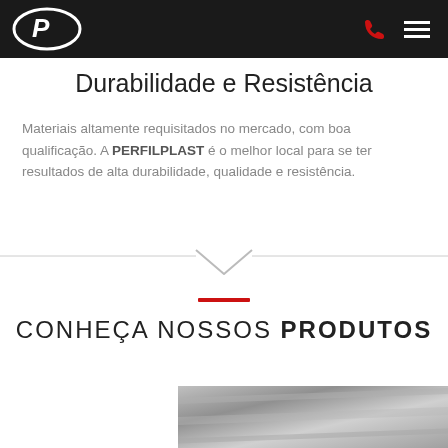Perfilplast — navigation header with logo, phone icon, and menu icon
Durabilidade e Resistência
Materiais altamente requisitados no mercado, com boa qualificação. A PERFILPLAST é o melhor local para se ter resultados de alta durabilidade, qualidade e resistência.
[Figure (other): Horizontal divider line with downward chevron arrow in the center]
CONHEÇA NOSSOS PRODUTOS
[Figure (photo): Partial image of metallic/plastic material in the bottom right corner]